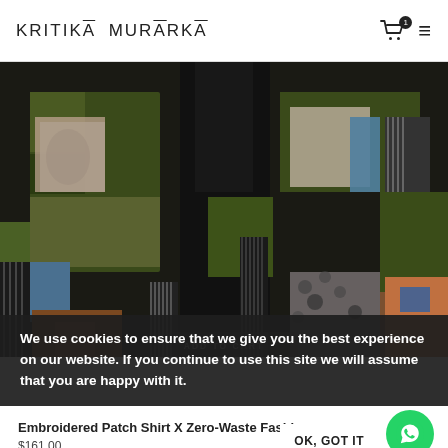KRITIKĀ MURĀRKĀ
[Figure (photo): Embroidered patchwork shirt/kimono-style garment with multicolored fabric patches including animal prints, stripes, botanical and abstract patterns on a dark background.]
We use cookies to ensure that we give you the best experience on our website. If you continue to use this site we will assume that you are happy with it.
OK, GOT IT
ADD TO CART
Embroidered Patch Shirt X Zero-Waste Fashion
$161.00